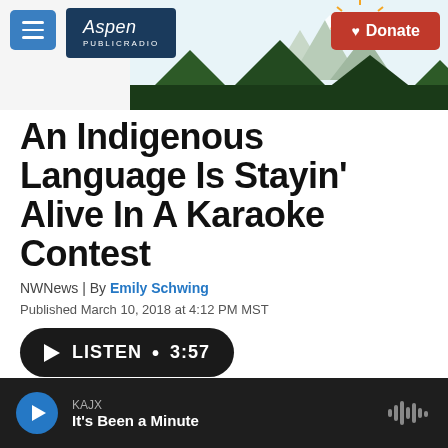[Figure (screenshot): Aspen Public Radio website header with logo, hamburger menu button, mountain landscape illustration, and red Donate button]
An Indigenous Language Is Stayin' Alive In A Karaoke Contest
NWNews | By Emily Schwing
Published March 10, 2018 at 4:12 PM MST
LISTEN • 3:57
KAJX  It's Been a Minute